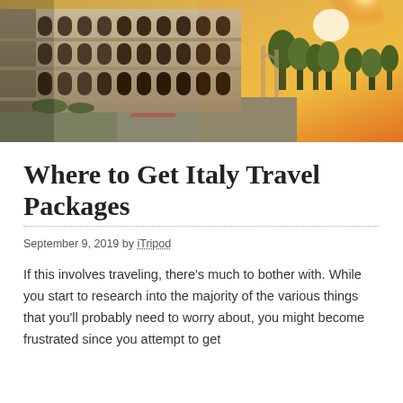[Figure (photo): Aerial/side view of the Colosseum in Rome at sunset with golden orange sky and surrounding streets]
Where to Get Italy Travel Packages
September 9, 2019 by iTripod
If this involves traveling, there’s much to bother with. While you start to research into the majority of the various things that you’ll probably need to worry about, you might become frustrated since you attempt to get